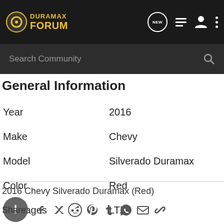DURAMAX FORUM
General Information
| Field | Value |
| --- | --- |
| Year | 2016 |
| Make | Chevy |
| Model | Silverado Duramax |
| Color | Red |
| Packages | LTZ |
2016 Chevy Silverado Duramax (Red)
Share: